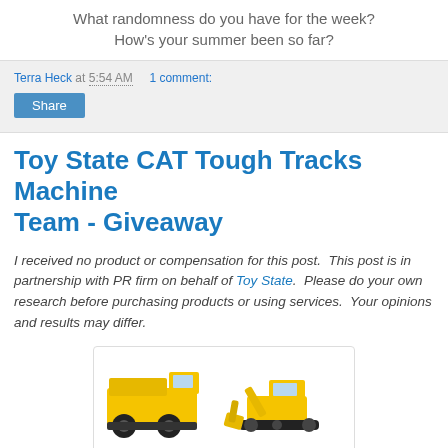What randomness do you have for the week?
How's your summer been so far?
Terra Heck at 5:54 AM    1 comment:
Share
Toy State CAT Tough Tracks Machine Team - Giveaway
I received no product or compensation for this post.  This post is in partnership with PR firm on behalf of Toy State.  Please do your own research before purchasing products or using services.  Your opinions and results may differ.
[Figure (photo): Two yellow CAT construction toy vehicles: a dump truck on the left and an excavator on the right, both with black wheels/tracks on a white background.]